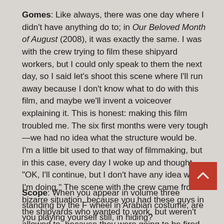Gomes: Like always, there was one day where I didn't have anything do to; in Our Beloved Month of August (2008), it was exactly the same. I was with the crew trying to film these shipyard workers, but I could only speak to them the next day, so I said let's shoot this scene where I'll run away because I don't know what to do with this film, and maybe we'll invent a voiceover explaining it. This is honest: making this film troubled me. The six first months were very tough—we had no idea what the structure would be. I'm a little bit used to that way of filmmaking, but in this case, every day I woke up and thought, "OK, I'll continue, but I don't have any idea what I'm doing." The scene with the crew came from a bizarre situation, because you had these guys in the shipyards who wanted to work, but weren't allowed to, because they were going to be fired. There was a guy doing his work, he's like Arnold Schwarzenegger, the terminator of wasps. He invented a weapon of mass destruction to kill them—so he just does his job, like in an action film. Then there was me, who was making the film, and I was asking myself how the hell I could do my job. So I shot myself running away.
Scope: When you appear in volume three standing by the Ferris wheel in Arabian costume, are you playing yourself still, in hiding?